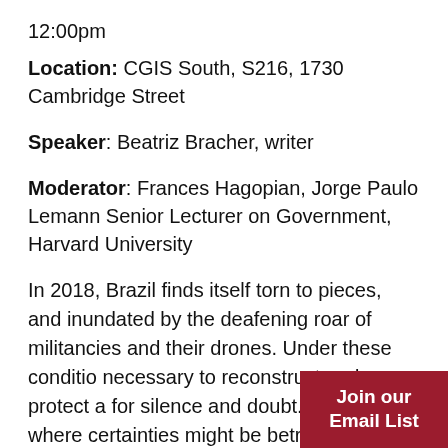12:00pm
Location: CGIS South, S216, 1730 Cambridge Street
Speaker: Beatriz Bracher, writer
Moderator: Frances Hagopian, Jorge Paulo Lemann Senior Lecturer on Government, Harvard University
In 2018, Brazil finds itself torn to pieces, and inundated by the deafening roar of militancies and their drones. Under these conditio necessary to reconstruct and protect a for silence and doubt. A space where certainties might be betrayed; fiction
Join our Email List